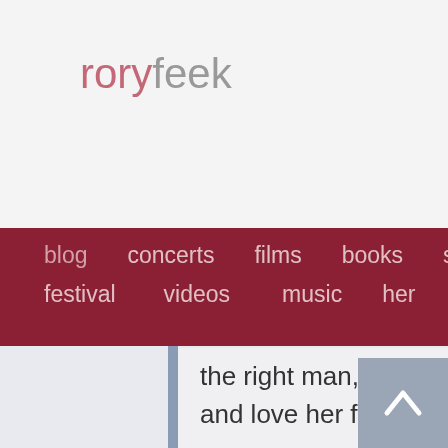roryfeek
[Figure (screenshot): Navigation menu icon (three horizontal lines / hamburger)]
blog  concerts  films  books  festival  videos  music
the right man, someone who would treat her well and love her for who she is.
And He did. Only it wasn't a man. It's Wendy.
On our anniversary this year, Hopie called me. I was pulling into a restaurant to have breakfast with two of my buddies after dropping off Indy at school, and my cell phone rang.
"H d h ...it'd b i d f lli